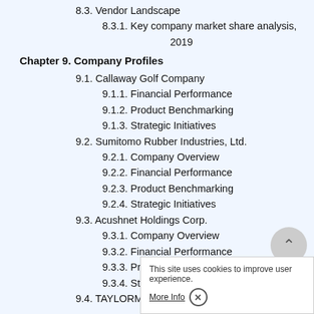8.3. Vendor Landscape
8.3.1. Key company market share analysis, 2019
Chapter 9. Company Profiles
9.1. Callaway Golf Company
9.1.1. Financial Performance
9.1.2. Product Benchmarking
9.1.3. Strategic Initiatives
9.2. Sumitomo Rubber Industries, Ltd.
9.2.1. Company Overview
9.2.2. Financial Performance
9.2.3. Product Benchmarking
9.2.4. Strategic Initiatives
9.3. Acushnet Holdings Corp.
9.3.1. Company Overview
9.3.2. Financial Performance
9.3.3. Product Benchmarking
9.3.4. Strategic Initiatives
9.4. TAYLORMADE...